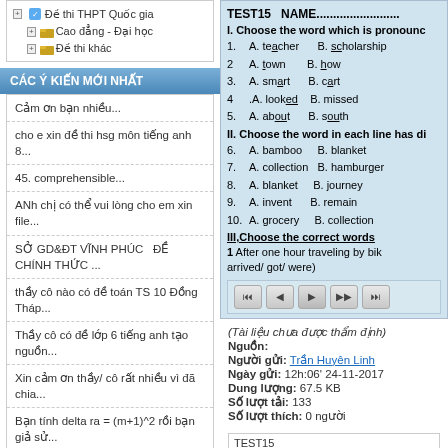Đề thi THPT Quốc gia
Cao đẳng - Đại học
Đề thi khác
CÁC Ý KIẾN MỚI NHẤT
Cảm ơn bạn nhiều...
cho e xin đề thi hsg môn tiếng anh 8...
45. comprehensible...
ANh chị có thể vui lòng cho em xin file...
SỞ GD&ĐT VĨNH PHÚC  ĐỀ CHÍNH THỨC ...
thầy cô nào có đề toán TS 10 Đồng Tháp...
Thầy cô có đề lớp 6 tiếng anh tạo nguồn...
Xin cảm ơn thầy/ cô rất nhiều vì đã chia...
Bạn tính delta ra = (m+1)^2 rồi bạn giả sử...
PHÒNG GDĐT HUYỆN TRẤN...
TEST15  NAME.......................
I. Choose the word which is pronounced...
1. A. teacher  B. scholarship
2  A. town  B. how
3.  A. smart  B. cart
4  .A. looked  B. missed
5.  A. about  B. south
II. Choose the word in each line has di...
6.  A. bamboo  B. blanket
7.  A. collection  B. hamburger
8.  A. blanket  B. journey
9.  A. invent  B. remain
10. A. grocery  B. collection
III,Choose the correct words...
1 After one hour traveling by bik... arrived/ got/ were)
(Tài liệu chưa được thẩm định)
Nguồn:
Người gửi: Trần Huyên Linh
Ngày gửi: 12h:06' 24-11-2017
Dung lượng: 67.5 KB
Số lượt tải: 133
Số lượt thích: 0 người
TEST15 NAME.....................................CL
I. Choose the word which is pronounced...